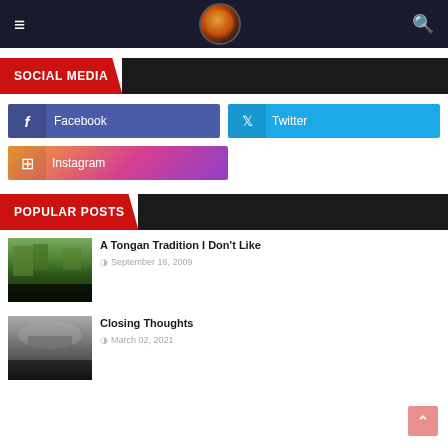≡  [logo]  🔍
SOCIAL MEDIA
Facebook
Twitter
Instagram
POPULAR POSTS
A Tongan Tradition I Don't Like
September 16, 2009
Closing Thoughts
March 02, 2021